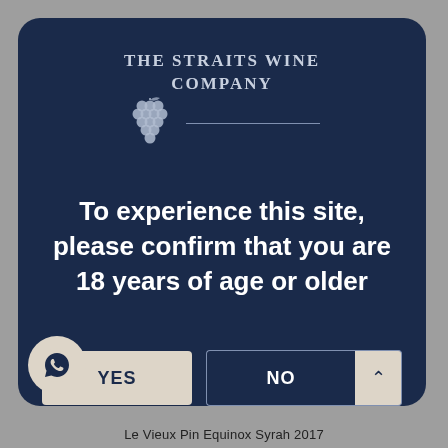[Figure (logo): The Straits Wine Company logo with grape cluster illustration and horizontal line]
To experience this site, please confirm that you are 18 years of age or older
YES
NO
Le Vieux Pin Equinox Syrah 2017